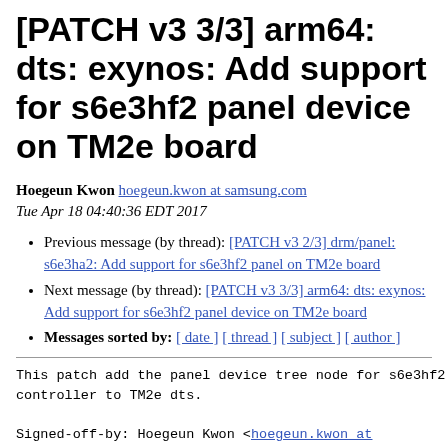[PATCH v3 3/3] arm64: dts: exynos: Add support for s6e3hf2 panel device on TM2e board
Hoegeun Kwon hoegeun.kwon at samsung.com
Tue Apr 18 04:40:36 EDT 2017
Previous message (by thread): [PATCH v3 2/3] drm/panel: s6e3ha2: Add support for s6e3hf2 panel on TM2e board
Next message (by thread): [PATCH v3 3/3] arm64: dts: exynos: Add support for s6e3hf2 panel device on TM2e board
Messages sorted by: [ date ] [ thread ] [ subject ] [ author ]
This patch add the panel device tree node for s6e3hf2 display
controller to TM2e dts.

Signed-off-by: Hoegeun Kwon <hoegeun.kwon at